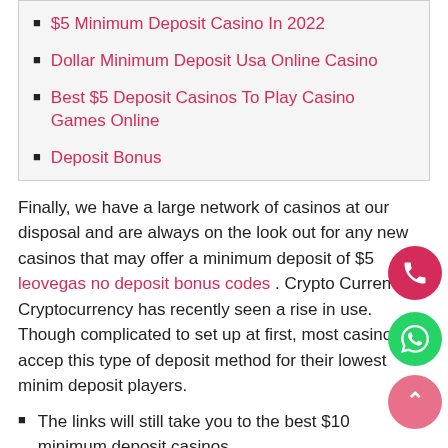$5 Minimum Deposit Casino In 2022
Dollar Minimum Deposit Usa Online Casino
Best $5 Deposit Casinos To Play Casino Games Online
Deposit Bonus
Finally, we have a large network of casinos at our disposal and are always on the look out for any new casinos that may offer a minimum deposit of $5 leovegas no deposit bonus codes . Crypto Curren Cryptocurrency has recently seen a rise in use. Though complicated to set up at first, most casinos accep this type of deposit method for their lowest minim deposit players.
The links will still take you to the best $10 minimum deposit casinos.